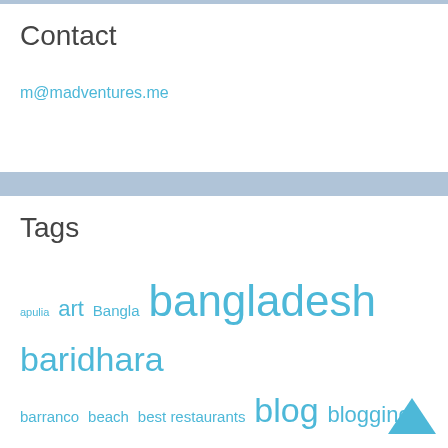Contact
m@madventures.me
Tags
apulia art Bangla bangladesh baridhara barranco beach best restaurants blog blogging bogota bread breakfast bucket list cafe caribbean celebration ceviche cheese chocolate clothes coffee colombia Copenhagen cuisine culture Danish dhaka